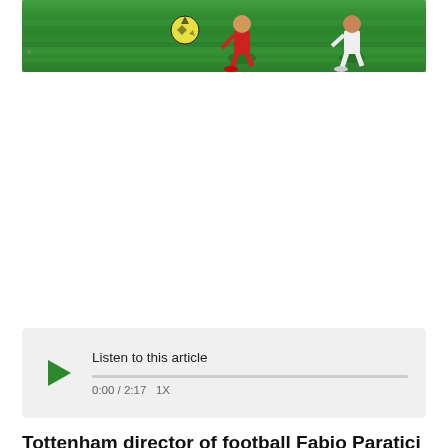[Figure (photo): Football/soccer action photo cropped at top showing players on a green pitch with a ball]
[Figure (other): Audio player widget with play button, progress bar showing 0:00 / 2:17 and 1X speed, labeled 'Listen to this article']
Tottenham director of football Fabio Paratici will give an answer to AC Milan over a move for Japhet Tanganga 'this